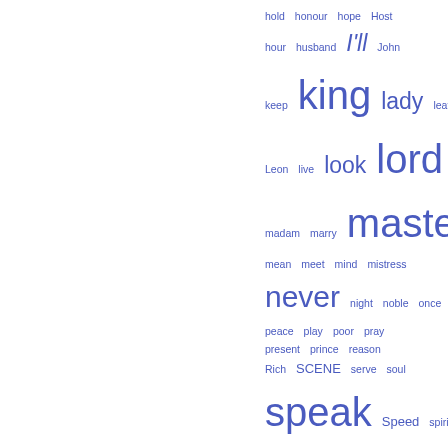[Figure (other): Word cloud showing frequency of words from a Shakespeare play. Words appear in varying font sizes indicating frequency. Words include: hold, honour, hope, Host, hour, husband, I'll, John, keep, king, lady, leave, Leon, live, look, lord, madam, marry, master, mean, meet, mind, mistress, never, night, noble, once, peace, play, poor, pray, present, prince, reason, Rich, SCENE, serve, soul, speak, Speed, spirit, stand, stay, sure, sweet, tell, thank, thee, there's, thine, thing, thou, art, thought, thousand, tongue, true, turn, wife, woman, young]